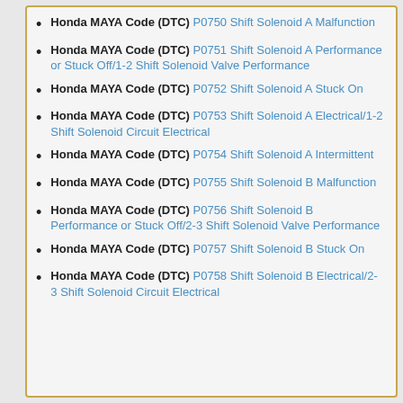Honda MAYA Code (DTC) P0750 Shift Solenoid A Malfunction
Honda MAYA Code (DTC) P0751 Shift Solenoid A Performance or Stuck Off/1-2 Shift Solenoid Valve Performance
Honda MAYA Code (DTC) P0752 Shift Solenoid A Stuck On
Honda MAYA Code (DTC) P0753 Shift Solenoid A Electrical/1-2 Shift Solenoid Circuit Electrical
Honda MAYA Code (DTC) P0754 Shift Solenoid A Intermittent
Honda MAYA Code (DTC) P0755 Shift Solenoid B Malfunction
Honda MAYA Code (DTC) P0756 Shift Solenoid B Performance or Stuck Off/2-3 Shift Solenoid Valve Performance
Honda MAYA Code (DTC) P0757 Shift Solenoid B Stuck On
Honda MAYA Code (DTC) P0758 Shift Solenoid B Electrical/2-3 Shift Solenoid Circuit Electrical